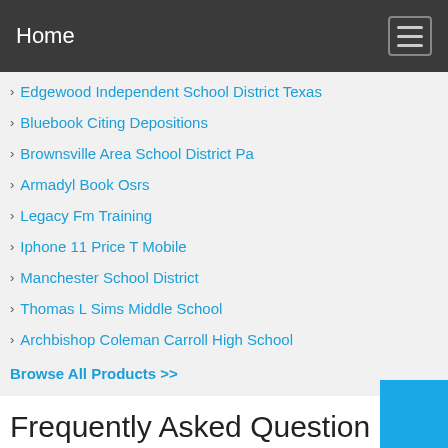Home
Edgewood Independent School District Texas
Bluebook Citing Depositions
Brownsville Area School District Pa
Armadyl Book Osrs
Legacy Fm Training
Iphone 11 Price T Mobile
Manchester School District
Thomas L Sims Middle School
Archbishop Coleman Carroll High School
Browse All Products >>
Frequently Asked Questions
What is included in the da Vinci